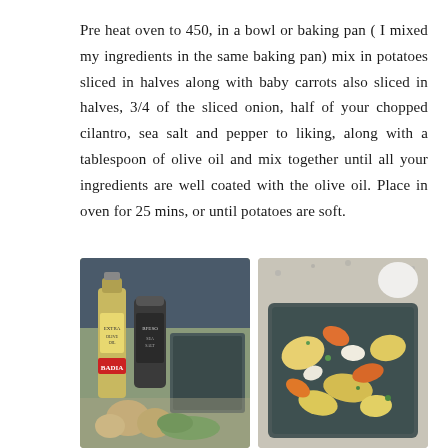Pre heat oven to 450, in a bowl or baking pan ( I mixed my ingredients in the same baking pan) mix in potatoes sliced in halves along with baby carrots also sliced in halves, 3/4 of the sliced onion, half of your chopped cilantro, sea salt and pepper to liking, along with a tablespoon of olive oil and mix together until all your ingredients are well coated with the olive oil. Place in oven for 25 mins, or until potatoes are soft.
[Figure (photo): Two side-by-side photos: left shows olive oil bottle, sea salt can (BADIA brand), a dark baking pan, onions, and fresh herbs on a counter; right shows a dark baking pan filled with chopped potatoes, carrots, and mixed vegetables on a granite countertop.]